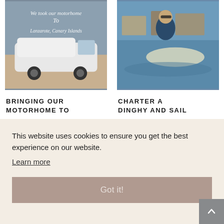[Figure (photo): White motorhome/camper van with cursive text overlay reading 'We took our motorhome to Lanzarote, Canary Islands']
BRINGING OUR MOTORHOME TO
[Figure (photo): Person wearing sunglasses on a boat near water with other boats in background]
CHARTER A DINGHY AND SAIL
This website uses cookies to ensure you get the best experience on our website.
Learn more
Got it!